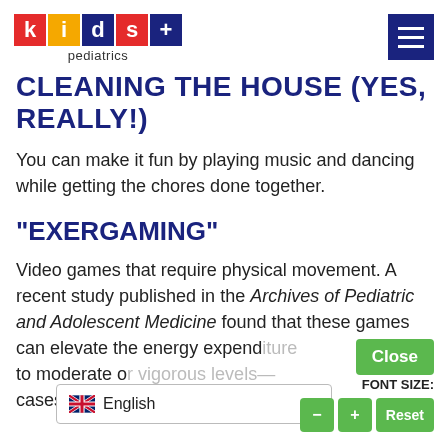[Figure (logo): Kids+ Pediatrics logo with colored letter blocks and hamburger menu icon]
CLEANING THE HOUSE (Yes, really!)
You can make it fun by playing music and dancing while getting the chores done together.
“EXERGAMING”
Video games that require physical movement. A recent study published in the Archives of Pediatric and Adolescent Medicine found that these games can elevate the energy expend[iture] to moderate o[r vigorous levels — and in some] cases, requi[ring even more energy th[an traditional sports]]